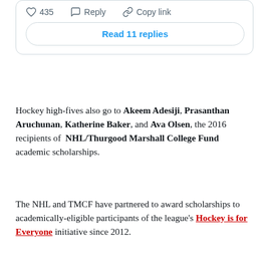[Figure (screenshot): Social media post interaction bar showing heart icon with 435 likes, Reply button, and Copy link button, plus a 'Read 11 replies' button below]
Hockey high-fives also go to Akeem Adesiji, Prasanthan Aruchunan, Katherine Baker, and Ava Olsen, the 2016 recipients of NHL/Thurgood Marshall College Fund academic scholarships.
The NHL and TMCF have partnered to award scholarships to academically-eligible participants of the league's Hockey is for Everyone initiative since 2012.
“These outstanding young people are skating toward a bright future,” NHL Commissioner Gary Bettman said. “While Hockey is for Everyone programs provide the structure, discipline and life lessons that our sport teaches so well, each of our scholarship winners was